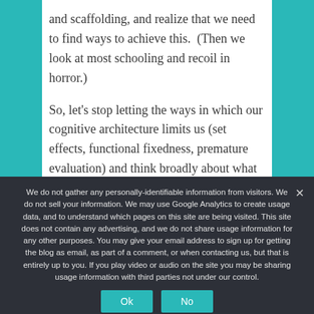and scaffolding, and realize that we need to find ways to achieve this. (Then we look at most schooling and recoil in horror.)

So, let's stop letting the ways in which our cognitive architecture limits us (set effects, functional fixedness, premature evaluation) and think broadly about what we could be doing, and
We do not gather any personally-identifiable information from visitors. We do not sell your information. We may use Google Analytics to create usage data, and to understand which pages on this site are being visited. This site does not contain any advertising, and we do not share usage information for any other purposes. You may give your email address to sign up for getting the blog as email, as part of a comment, or when contacting us, but that is entirely up to you. If you play video or audio on the site you may be sharing usage information with third parties not under our control.